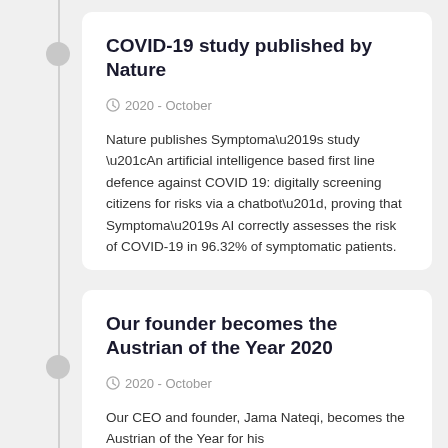COVID-19 study published by Nature
2020 - October
Nature publishes Symptoma’s study “An artificial intelligence based first line defence against COVID 19: digitally screening citizens for risks via a chatbot”, proving that Symptoma’s AI correctly assesses the risk of COVID-19 in 96.32% of symptomatic patients.
Our founder becomes the Austrian of the Year 2020
2020 - October
Our CEO and founder, Jama Nateqi, becomes the Austrian of the Year for his